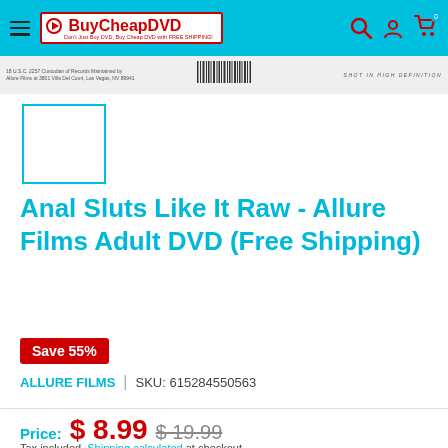BuyCheapDVD — Don't Just Buy DVD, Buy Cheap DVD with FREE SHIPPING!
[Figure (photo): Back cover scan of DVD product showing text and barcode strip]
[Figure (photo): Small thumbnail placeholder box with cyan border]
Anal Sluts Like It Raw - Allure Films Adult DVD (Free Shipping)
Save 55%
ALLURE FILMS  |  SKU: 615284550563
Price: $ 8.99  $ 19.99
Tax included. Shipping calculated at checkout